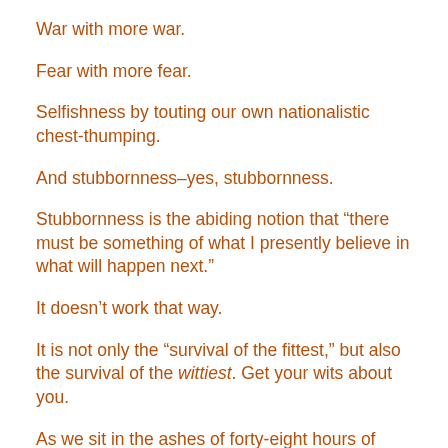War with more war.
Fear with more fear.
Selfishness by touting our own nationalistic chest-thumping.
And stubbornness–yes, stubbornness.
Stubbornness is the abiding notion that “there must be something of what I presently believe in what will happen next.”
It doesn’t work that way.
It is not only the “survival of the fittest,” but also the survival of the wittiest. Get your wits about you.
As we sit in the ashes of forty-eight hours of tragedy, we